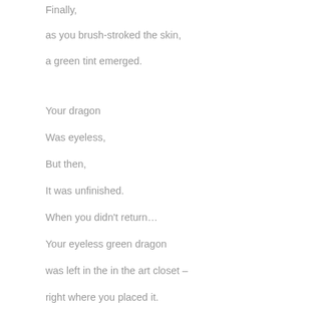Finally,
as you brush-stroked the skin,
a green tint emerged.
Your dragon
Was eyeless,
But then,
It was unfinished.
When you didn't return…
Your eyeless green dragon
was left in the in the art closet –
right where you placed it.